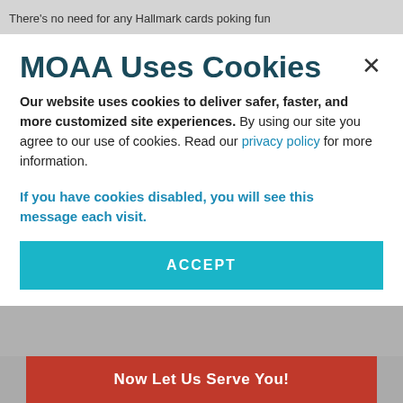There's no need for any Hallmark cards poking fun
MOAA Uses Cookies
Our website uses cookies to deliver safer, faster, and more customized site experiences. By using our site you agree to our use of cookies. Read our privacy policy for more information.
If you have cookies disabled, you will see this message each visit.
ACCEPT
[Figure (screenshot): Bottom banner showing 'Now Let Us Serve You!' text on a red background]